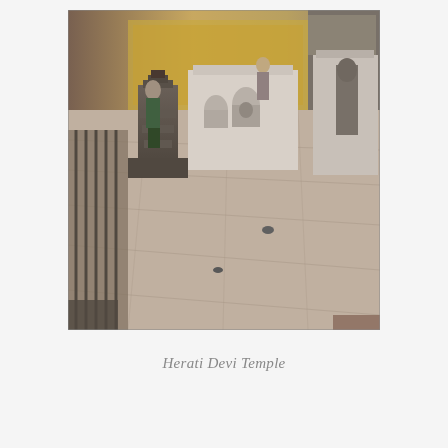[Figure (photo): Photograph of Herati Devi Temple courtyard showing stone shrines, Buddhist statues in niches, a white plaster shrine structure, a person walking in the background, pigeons on the stone-paved ground, decorative metal rails on the left, and a tall stone statue in a niche on the right.]
Herati Devi Temple